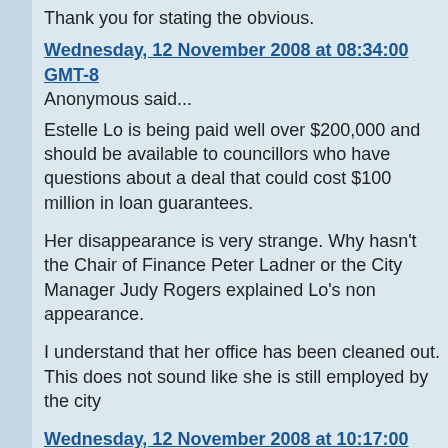Thank you for stating the obvious.
Wednesday, 12 November 2008 at 08:34:00 GMT-8
Anonymous said...
Estelle Lo is being paid well over $200,000 and should be available to councillors who have questions about a deal that could cost $100 million in loan guarantees.
Her disappearance is very strange. Why hasn't the Chair of Finance Peter Ladner or the City Manager Judy Rogers explained Lo's non appearance.
I understand that her office has been cleaned out. This does not sound like she is still employed by the city
Wednesday, 12 November 2008 at 10:17:00 GMT-8